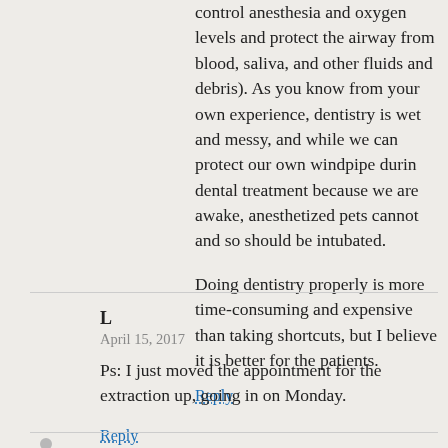control anesthesia and oxygen levels and protect the airway from blood, saliva, and other fluids and debris). As you know from your own experience, dentistry is wet and messy, and while we can protect our own windpipe durin dental treatment because we are awake, anesthetized pets cannot and so should be intubated.
Doing dentistry properly is more time-consuming and expensive than taking shortcuts, but I believe it is better for the patients.
Reply
L
April 15, 2017
Ps: I just moved the appointment for the extraction up, going in on Monday.
Reply